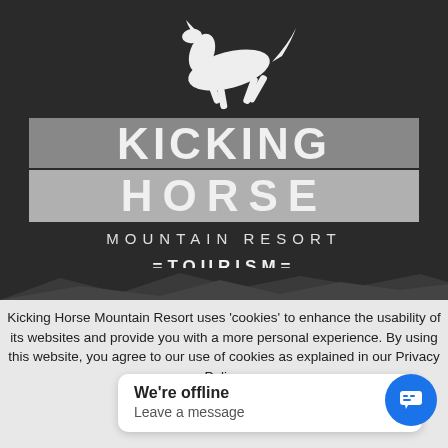[Figure (logo): Kicking Horse Mountain Resort logo with white horse silhouette, KICKING (dark gray bar), HORSE (light gray bar), MOUNTAIN RESORT text, and TOURISM text on dark background]
Kicking Horse Mountain Resort uses 'cookies' to enhance the usability of its websites and provide you with a more personal experience. By using this website, you agree to our use of cookies as explained in our Privacy Policy.
We're offline
Leave a message